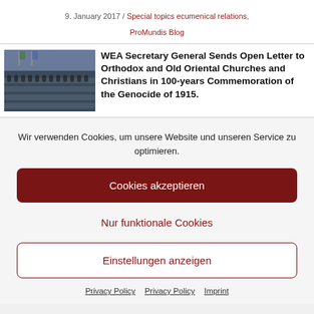9. January 2017 / Special topics ecumenical relations, ProMundis Blog
[Figure (photo): Photo of a parliamentary assembly hall with rows of seated delegates, viewed from behind/side]
WEA Secretary General Sends Open Letter to Orthodox and Old Oriental Churches and Christians in 100-years Commemoration of the Genocide of 1915
Wir verwenden Cookies, um unsere Website und unseren Service zu optimieren.
Cookies akzeptieren
Nur funktionale Cookies
Einstellungen anzeigen
Privacy Policy   Privacy Policy   Imprint